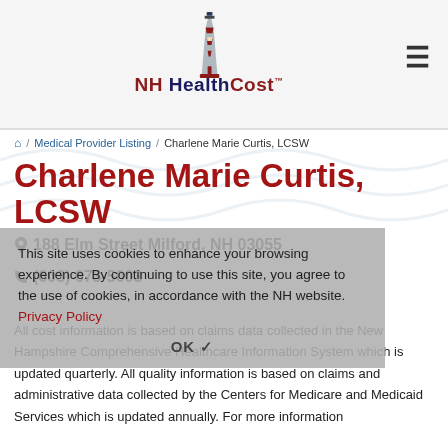[Figure (logo): NH HealthCost logo with lighthouse icon]
≡
🏠 / Medical Provider Listing / Charlene Marie Curtis, LCSW
Charlene Marie Curtis, LCSW
📍 188 Elm Street Milford, NH 03055
📞 (603) 673-5003
This site uses cookies to enhance your browsing experience. By continuing to use this site, you agree to the use of cookies, in accordance with the NH website. Privacy Policy
OK ✓
All cost information is based on claims data collected in the New Hampshire Comprehensive Healthcare Information System which is updated quarterly. All quality information is based on claims and administrative data collected by the Centers for Medicare and Medicaid Services which is updated annually. For more information